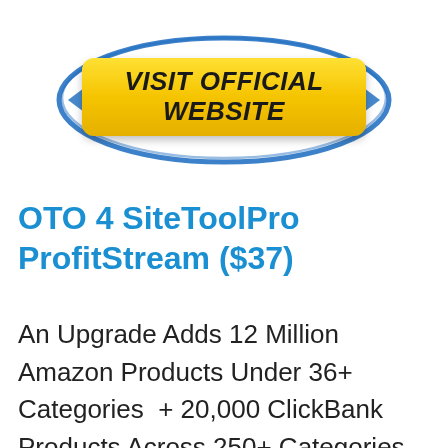[Figure (other): Yellow button with bold italic text 'VISIT OFFICIAL WEBSITE' surrounded by a blue oval/ellipse border outline]
OTO 4 SiteToolPro ProfitStream ($37)
An Upgrade Adds 12 Million Amazon Products Under 36+ Categories + 20,000 ClickBank Products Across 250+ Categories